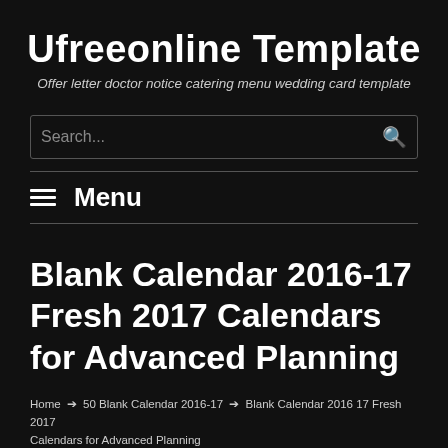Ufreeonline Template
Offer letter doctor notice catering menu wedding card template
[Figure (screenshot): Search bar with placeholder text 'Search...' and magnifying glass icon on dark background]
≡ Menu
Blank Calendar 2016-17 Fresh 2017 Calendars for Advanced Planning
Home → 50 Blank Calendar 2016-17 → Blank Calendar 2016 17 Fresh 2017 Calendars for Advanced Planning